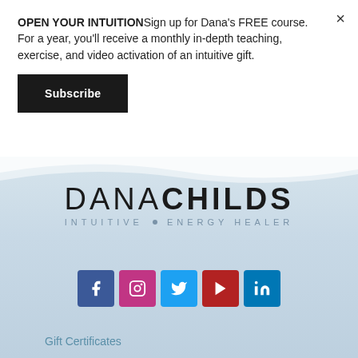OPEN YOUR INTUITIONSign up for Dana's FREE course. For a year, you'll receive a monthly in-depth teaching, exercise, and video activation of an intuitive gift.
Subscribe
[Figure (logo): Dana Childs Intuitive Energy Healer logo with social media icons (Facebook, Instagram, Twitter, YouTube, LinkedIn)]
Gift Certificates